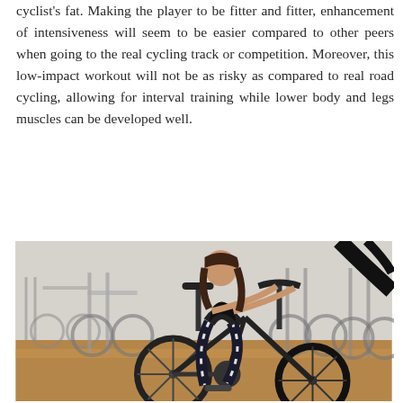cyclist's fat. Making the player to be fitter and fitter, enhancement of intensiveness will seem to be easier compared to other peers when going to the real cycling track or competition. Moreover, this low-impact workout will not be as risky as compared to real road cycling, allowing for interval training while lower body and legs muscles can be developed well.
[Figure (photo): A person (woman) riding an indoor stationary spin bike in a gym with multiple other spin bikes visible in the background. The person is wearing black sports top and patterned leggings.]